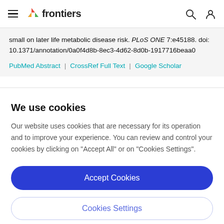frontiers
small on later life metabolic disease risk. PLoS ONE 7:e45188. doi: 10.1371/annotation/0a0f4d8b-8ec3-4d62-8d0b-1917716beaa0
PubMed Abstract | CrossRef Full Text | Google Scholar
We use cookies
Our website uses cookies that are necessary for its operation and to improve your experience. You can review and control your cookies by clicking on "Accept All" or on "Cookies Settings".
Accept Cookies
Cookies Settings